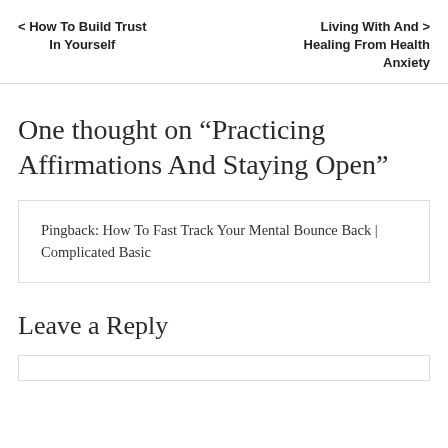< How To Build Trust In Yourself
Living With And > Healing From Health Anxiety
One thought on “Practicing Affirmations And Staying Open”
Pingback: How To Fast Track Your Mental Bounce Back | Complicated Basic
Leave a Reply